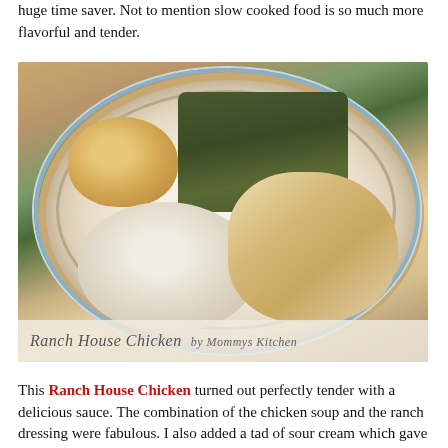huge time saver. Not to mention slow cooked food is so much more flavorful and tender.
[Figure (photo): A decorative blue and white plate holding ranch house chicken with cream sauce, mashed potatoes with black pepper, a golden biscuit, and green beans. Watermark text reads 'Ranch House Chicken by Mommys Kitchen'.]
Ranch House Chicken by Mommys Kitchen
This Ranch House Chicken turned out perfectly tender with a delicious sauce. The combination of the chicken soup and the ranch dressing were fabulous. I also added a tad of sour cream which gave the sauce a nice tang. I highly recommend this chicken dish, so file it away in your recipe box, because you will be making